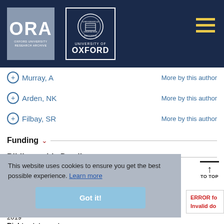[Figure (logo): ORA Oxford University Research Archive logo (grey box) and University of Oxford logo with seal, on dark navy header background with hamburger menu icon]
+ Murray, A    More by this author
+ Arden, NK    More by this author
+ Filbay, SR    More by this author
Funding
Bibliographic Details
Item Description
Terms of use
Copyright holder:
Bullock et al.
Copyright date:
2019
Rights statement:
This website uses cookies to ensure you get the best possible experience. Learn more